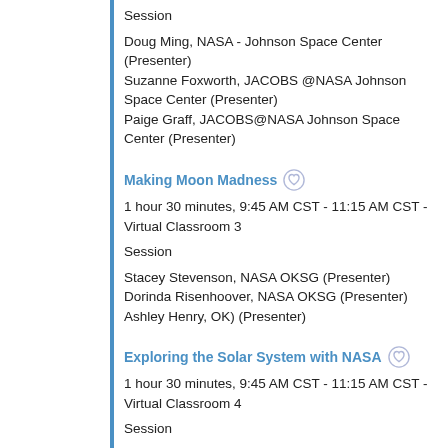Session
Doug Ming, NASA - Johnson Space Center (Presenter)
Suzanne Foxworth, JACOBS @NASA Johnson Space Center (Presenter)
Paige Graff, JACOBS@NASA Johnson Space Center (Presenter)
Making Moon Madness
1 hour 30 minutes, 9:45 AM CST - 11:15 AM CST - Virtual Classroom 3
Session
Stacey Stevenson, NASA OKSG (Presenter)
Dorinda Risenhoover, NASA OKSG (Presenter)
Ashley Henry, OK) (Presenter)
Exploring the Solar System with NASA
1 hour 30 minutes, 9:45 AM CST - 11:15 AM CST - Virtual Classroom 4
Session